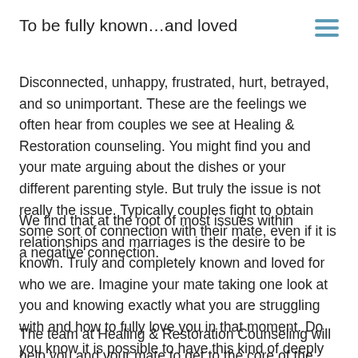To be fully known…and loved
Disconnected, unhappy, frustrated, hurt, betrayed, and so unimportant. These are the feelings we often hear from couples we see at Healing & Restoration counseling. You might find you and your mate arguing about the dishes or your different parenting style. But truly the issue is not really the issue. Typically couples fight to obtain some sort of connection with their mate, even if it is a negative connection.
We find that at the root of most issues within relationships and marriages is the desire to be known. Truly and completely known and loved for who we are. Imagine your mate taking one look at you and knowing exactly what you are struggling with and how to fully love you in that moment. Do you know it is possible to have this kind of deeply connected and loving relationship?
The team at Healing & Restoration Counseling will help you and your mate to get to the core of the issues in